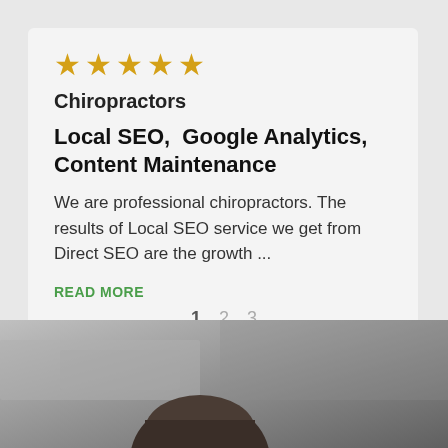[Figure (other): Five gold stars rating]
Chiropractors
Local SEO,  Google Analytics, Content Maintenance
We are professional chiropractors. The results of Local SEO service we get from Direct SEO are the growth ...
READ MORE
1  2  3
[Figure (photo): Navigation arrows (left and right) and partial photo of a person's head at the bottom of the page]